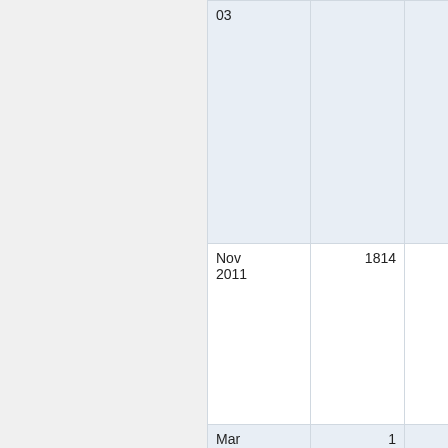| 03 |  |  |
| Nov
2011 | 1814 | 0 |
| Mar | 1 | 0 |